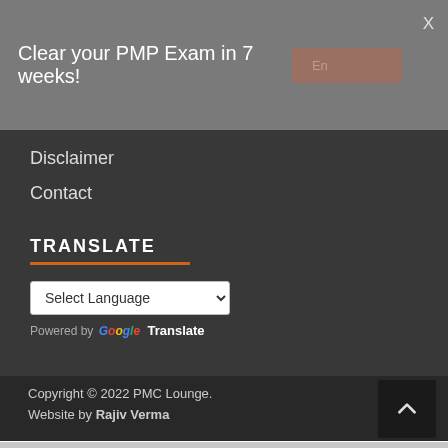Clear your PMP Exam in 7 weeks!
Disclaimer
Contact
TRANSLATE
Select Language
Powered by Google Translate
Copyright © 2022 PMC Lounge. Website by Rajiv Verma